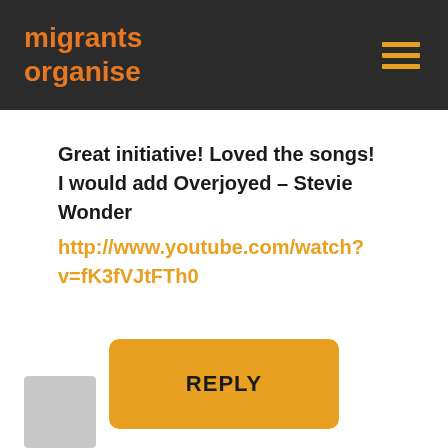migrants organise
Great initiative! Loved the songs! I would add Overjoyed – Stevie Wonder http://www.youtube.com/watch?v=fK3fVJtFTh0
REPLY